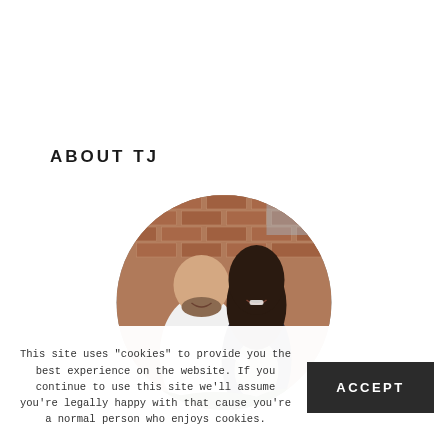ABOUT TJ
[Figure (photo): Circular cropped photo of a couple smiling in front of a brick wall. A bald man with a beard wearing a white shirt stands with a woman with long dark hair wearing a dark jacket over a light shirt.]
This site uses "cookies" to provide you the best experience on the website. If you continue to use this site we'll assume you're legally happy with that cause you're a normal person who enjoys cookies.